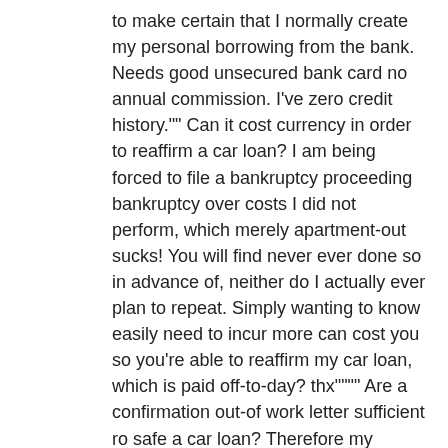to make certain that I normally create my personal borrowing from the bank. Needs good unsecured bank card no annual commission. I've zero credit history."" Can it cost currency in order to reaffirm a car loan? I am being forced to file a bankruptcy proceeding bankruptcy over costs I did not perform, which merely apartment-out sucks! You will find never ever done so in advance of, neither do I actually ever plan to repeat. Simply wanting to know easily need to incur more can cost you so you're able to reaffirm my car loan, which is paid off-to-day? thx"""" Are a confirmation out-of work letter sufficient ro safe a car loan? Therefore my vehicle are taken and you may stripped…My car is my income…I can't rating a beneficial era inside my occupations instead a car. A few items features emerged apart from my vehicle are taken has come up and therefore has not greeting us to rating dos previous shell out stubs… ((surgery)…have a tendency to the newest page